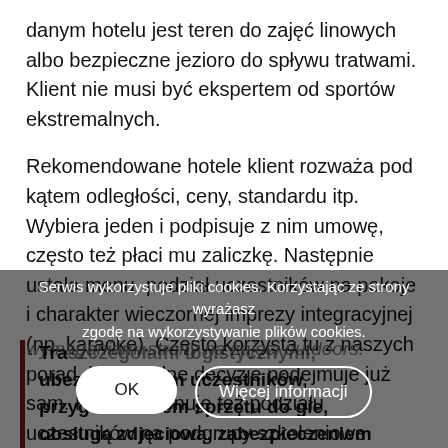danym hotelu jest teren do zajęć linowych albo bezpieczne jezioro do spływu tratwami. Klient nie musi być ekspertem od sportów ekstremalnych.
Rekomendowane hotele klient rozważa pod kątem odległości, ceny, standardu itp. Wybiera jeden i podpisuje z nim umowę, często też płaci mu zaliczkę. Następnie ustala menu, podział uczestników na pokoje i charakter wieczornej imprezy integracyjnej (np. karaoke). Często korzysta tu z naszych porad, lecz finalne decyzje podejmuje już sam. Klient dokonuje też podziału uczestników na podgrupy szkoleniowe (możliwie mieszając ludzi z różnych działów). Wysyła im też zaproszenie, informując o miejscu, terminie i
wymaganiami strony na zajęci outdoors.
Serwis wykorzystuje pliki cookies. Korzystając ze strony wyrażasz zgodę na wykorzystywanie plików cookies.
OK
Więcej informacji
Tra... ubezpie... uczestników, przygo... sprzętu do gie, obsługą zdjęciową, zabezpieczeniem